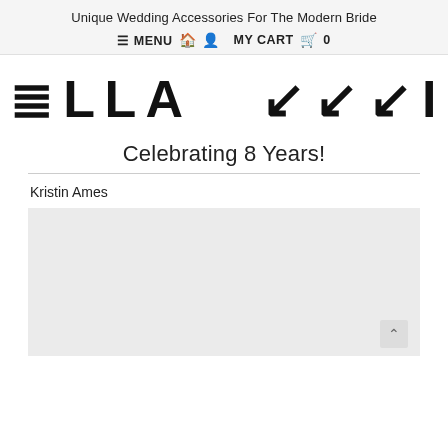Unique Wedding Accessories For The Modern Bride
≡ MENU  🏠  👤  MY CART  🛒  0
ELLA WINSTON
Celebrating 8 Years!
Kristin Ames
[Figure (photo): Gray placeholder image area]